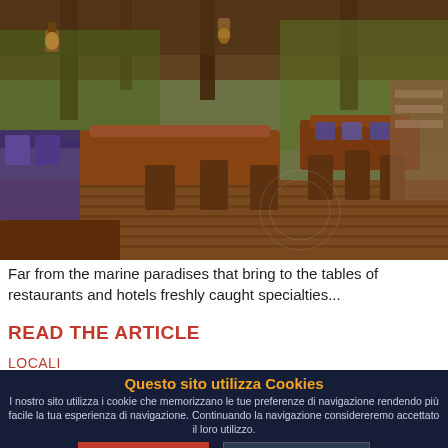[Figure (photo): Interior of a rustic open-air restaurant with wooden tables, benches, blue cushions, hanging lanterns, and a wooden plank floor under a wooden roof structure surrounded by trees.]
Far from the marine paradises that bring to the tables of restaurants and hotels freshly caught specialties...
READ THE ARTICLE
LOCALI
Maroquine dinner at Baby Mzuzu, Malindi
THURSDAY 11TH NORTH AFRICAN SPECIALIITIES
Questo sito utilizza Cookies
I nostro sito utilizza i cookie che memorizzano le tue preferenze di navigazione rendendo più facile la tua esperienza di navigazione. Continuando la navigazione considereremo accettato il loro utilizzo.
ACCETTO
INFORMATIVA